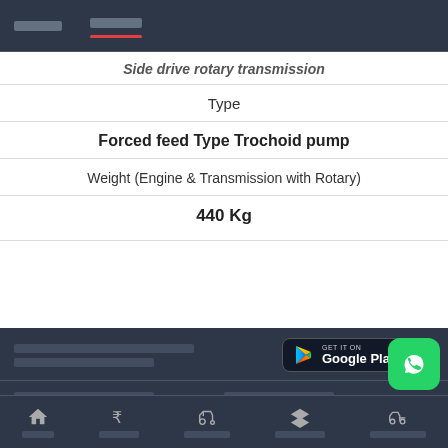[Navigation bar with two menu items]
Side drive rotary transmission
Type
Forced feed Type Trochoid pump
Weight (Engine & Transmission with Rotary)
440 Kg
[Figure (screenshot): Google Play store download button]
Bottom navigation bar with home, price, tractor, compare, and tractor comparison icons